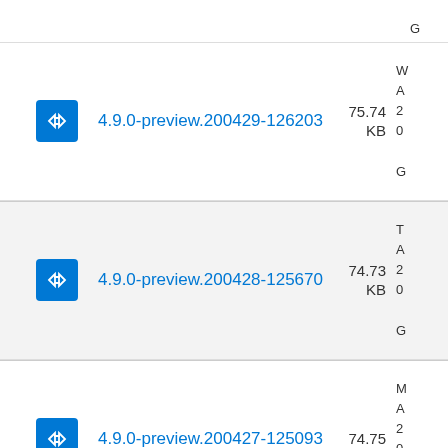4.9.0-preview.200429-126203 — 75.74 KB
4.9.0-preview.200428-125670 — 74.73 KB
4.9.0-preview.200427-125093 — 74.75